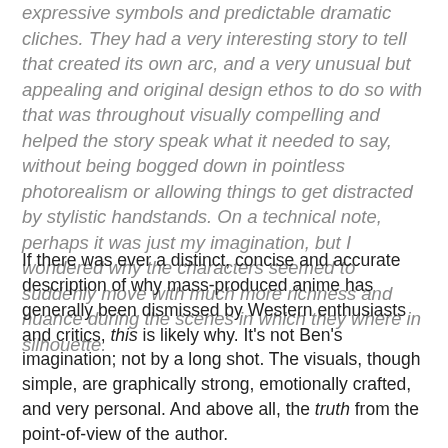expressive symbols and predictable dramatic cliches. They had a very interesting story to tell that created its own arc, and a very unusual but appealing and original design ethos to do so with that was throughout visually compelling and helped the story speak what it needed to say, without being bogged down in pointless photorealism or allowing things to get distracted by stylistic handstands. On a technical note, perhaps it was just my imagination, but I wondered why the characters seemed to suddenly move with much more richness and nuance during the scenes in which they where in silhouette.
If there was ever a distinct, concise and accurate description of why mass-produced anime has generally been dismissed by Western enthusiasts and critics, this is likely why. It's not Ben's imagination; not by a long shot. The visuals, though simple, are graphically strong, emotionally crafted, and very personal. And above all, the truth from the point-of-view of the author.